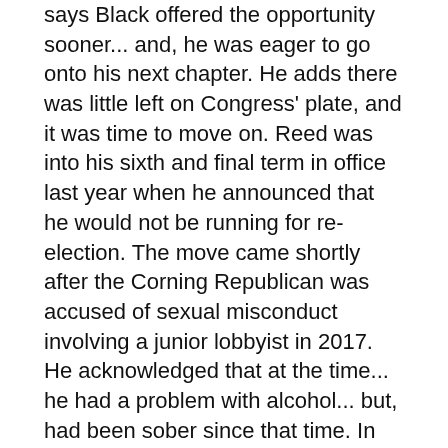says Black offered the opportunity sooner... and, he was eager to go onto his next chapter.  He adds there was little left on Congress' plate, and it was time to move on.  Reed was into his sixth and final term in office last year when he announced that he would not be running for re-election.  The move came shortly after the Corning Republican was accused of sexual misconduct involving a junior lobbyist in 2017.  He acknowledged that at the time... he had a problem with alcohol... but, had been sober since that time.  In his resignation letter to House Speaker Nancy Pelosi... Reed said he'll miss working for residents of the 23rd District... but, says the time was right to move on.
Reed's vacant seat to trigger likely Special Election... Tom Reed's sudden resignation adds another layer of confusion to an already choatic situation for New York's congressional districts.  A story in Wednesday's Buffalo News reports that recent state legislation mandates a